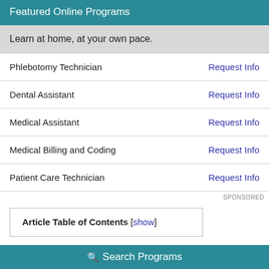Featured Online Programs
Learn at home, at your own pace.
Phlebotomy Technician — Request Info
Dental Assistant — Request Info
Medical Assistant — Request Info
Medical Billing and Coding — Request Info
Patient Care Technician — Request Info
SPONSORED
Article Table of Contents [show]
Job Description